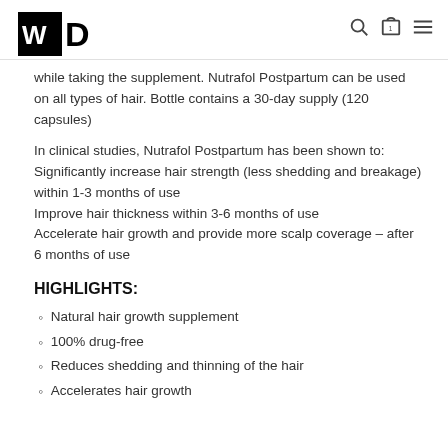WD logo with navigation icons
while taking the supplement. Nutrafol Postpartum can be used on all types of hair. Bottle contains a 30-day supply (120 capsules)
In clinical studies, Nutrafol Postpartum has been shown to:
Significantly increase hair strength (less shedding and breakage) within 1-3 months of use
Improve hair thickness within 3-6 months of use
Accelerate hair growth and provide more scalp coverage – after 6 months of use
HIGHLIGHTS:
Natural hair growth supplement
100% drug-free
Reduces shedding and thinning of the hair
Accelerates hair growth